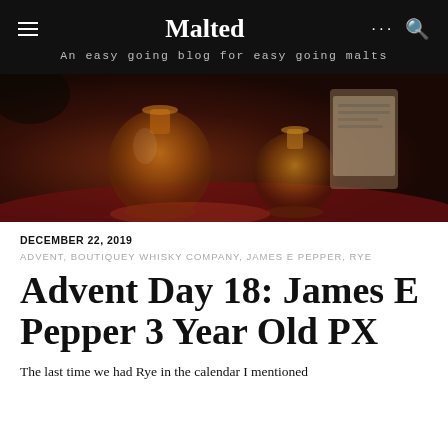Malted — An easy going blog for easy going malts
[Figure (photo): Two whisky tasting glasses with amber liquid on a dark red surface, with a whisky bottle label visible in the background]
DECEMBER 22, 2019
ADVENT, BOUTIQUEY WHISKY COMPANY, JAMES E PEPPER, RYE
Advent Day 18: James E Pepper 3 Year Old PX
The last time we had Rye in the calendar I mentioned